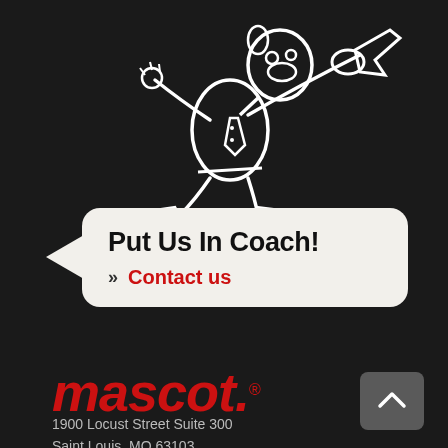[Figure (illustration): White line drawing of a cartoon mascot character in a suit running and pointing, on a dark/black background]
Put Us In Coach!
Contact us
[Figure (logo): mascot. logo in red italic bold text with registered trademark symbol]
1900 Locust Street Suite 300
Saint Louis, MO 63103